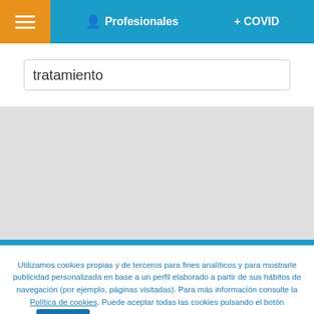≡   Profesionales   + COVID
tratamiento
Utilizamos cookies propias y de terceros para fines analíticos y para mostrarle publicidad personalizada en base a un perfil elaborado a partir de sus hábitos de navegación (por ejemplo, páginas visitadas). Para más información consulte la Política de cookies. Puede aceptar todas las cookies pulsando el botón ACEPTAR o configurarlas o rechazar su uso pulsando el botón Configurar Cookies